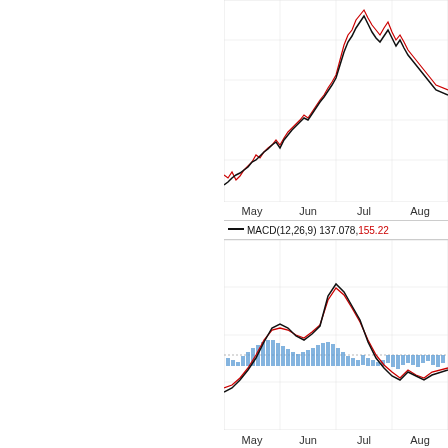[Figure (continuous-plot): Price chart (top panel) showing two lines (black and red) trending upward from May through July, then declining through August. X-axis labels: May, Jun, Jul, Aug.]
[Figure (continuous-plot): MACD(12,26,9) indicator panel (bottom) with black MACD line, red signal line, and blue histogram bars. Legend shows MACD(12,26,9) 137.078 in black, 155.22 in red. X-axis labels: May, Jun, Jul, Aug.]